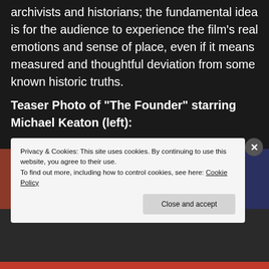archivists and historians; the fundamental idea is for the audience to experience the film's real emotions and sense of place, even if it means measured and thoughtful deviation from some known historic truths.
Teaser Photo of “The Founder” starring Michael Keaton (left):
[Figure (photo): Teaser photo from the film 'The Founder' starring Michael Keaton. Shows what appears to be a storefront with venetian blinds/garage door panels and brick wall on the left, red/orange stripe at bottom.]
Privacy & Cookies: This site uses cookies. By continuing to use this website, you agree to their use.
To find out more, including how to control cookies, see here: Cookie Policy
Close and accept